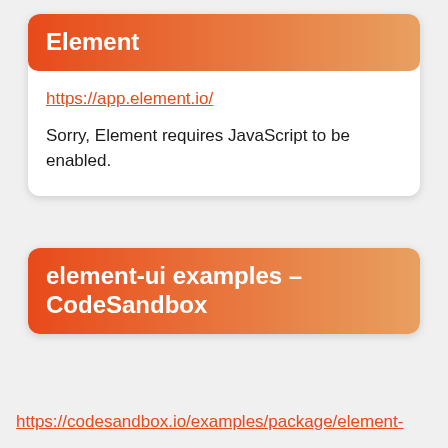Element
https://app.element.io/
Sorry, Element requires JavaScript to be enabled.
element-ui examples – CodeSandbox
https://codesandbox.io/examples/package/element-